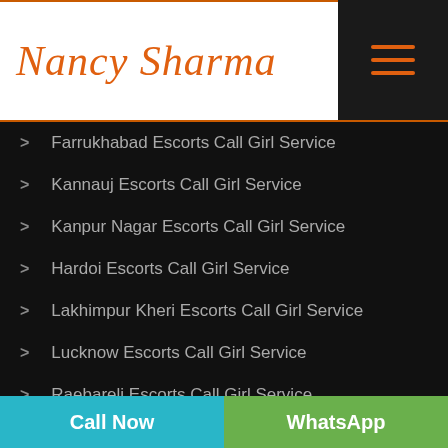Nancy Sharma
Farrukhabad Escorts Call Girl Service
Kannauj Escorts Call Girl Service
Kanpur Nagar Escorts Call Girl Service
Hardoi Escorts Call Girl Service
Lakhimpur Kheri Escorts Call Girl Service
Lucknow Escorts Call Girl Service
Raebareli Escorts Call Girl Service
Sitapur Escorts Call Girl Service
Call Now | WhatsApp